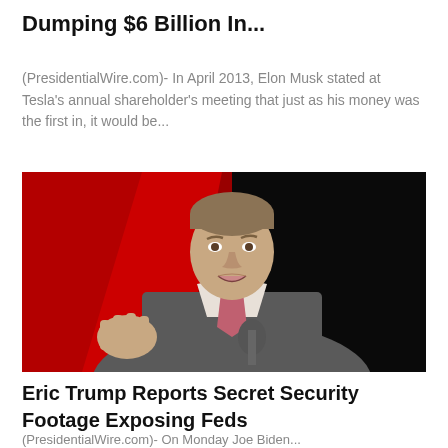Dumping $6 Billion In...
(PresidentialWire.com)- In April 2013, Elon Musk stated at Tesla's annual shareholder's meeting that just as his money was the first in, it would be...
[Figure (photo): A man in a grey suit with a pink tie speaking at a podium, with a red and black background.]
Eric Trump Reports Secret Security Footage Exposing Feds
(PresidentialWire.com)- On Monday Joe Biden...